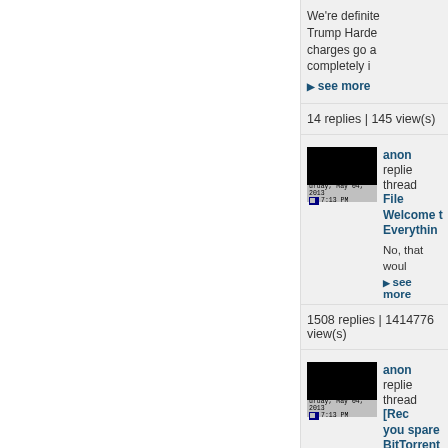We're definite... Trump Harde... charges go a... completely i...
▶ see more
14 replies | 145 view(s)
[Figure (screenshot): Thumbnail screenshot showing a black screen with Windows taskbar showing 'urday, May 04, 2013' and '7:13 PM']
anon replied to thread File... Welcome t... Everythin...
No, that woul...
▶ see more
1508 replies | 1414776 view(s)
[Figure (screenshot): Thumbnail screenshot showing a black screen with Windows taskbar showing 'urday, May 04, 2013' and '7:13 PM']
anon replied to thread [Rec... you spare... BitTorrent... Trades
Nice attempt... of the Earth,... have heard it... :dry: